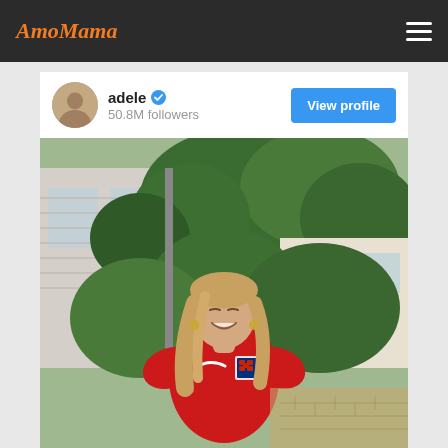AmoMama
[Figure (screenshot): Instagram profile card for adele with 50.8M followers, showing a View profile button and a photo of a woman wearing a red England Nike football shirt, laughing outdoors in a garden setting]
adele ✓  50.8M followers
View profile